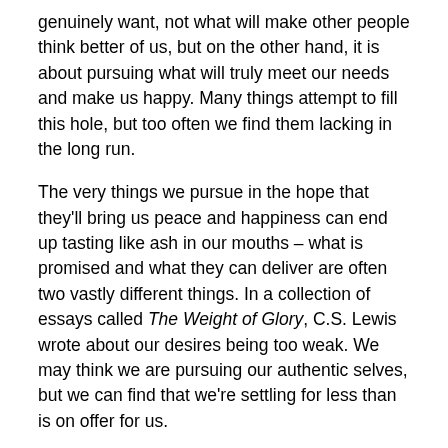genuinely want, not what will make other people think better of us, but on the other hand, it is about pursuing what will truly meet our needs and make us happy. Many things attempt to fill this hole, but too often we find them lacking in the long run.
The very things we pursue in the hope that they'll bring us peace and happiness can end up tasting like ash in our mouths – what is promised and what they can deliver are often two vastly different things. In a collection of essays called The Weight of Glory, C.S. Lewis wrote about our desires being too weak. We may think we are pursuing our authentic selves, but we can find that we're settling for less than is on offer for us.
Lewis writes, “It would seem that Our Lord finds our desires not too strong, but too weak. We are half-hearted creatures, fooling about with drink and sex and ambition when infinite joy is offered us, like an ignorant child who wants to go on making mud pies in a slum because he cannot imagine what is meant by the offer of a holiday at the sea. We are far too easily pleased.”